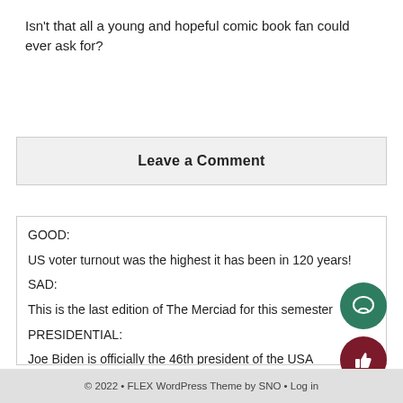Isn't that all a young and hopeful comic book fan could ever ask for?
Leave a Comment
GOOD:
US voter turnout was the highest it has been in 120 years!
SAD:
This is the last edition of The Merciad for this semester
PRESIDENTIAL:
Joe Biden is officially the 46th president of the USA
© 2022 • FLEX WordPress Theme by SNO • Log in